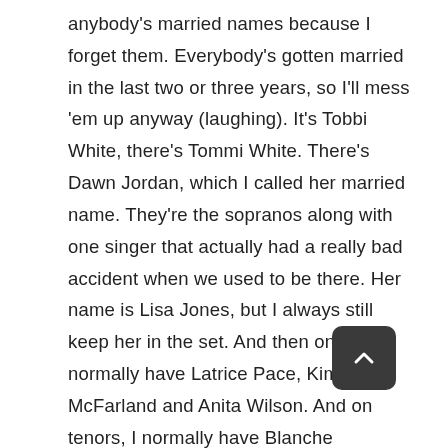anybody's married names because I forget them. Everybody's gotten married in the last two or three years, so I'll mess 'em up anyway (laughing). It's Tobbi White, there's Tommi White. There's Dawn Jordan, which I called her married name. They're the sopranos along with one singer that actually had a really bad accident when we used to be there. Her name is Lisa Jones, but I always still keep her in the set. And then on altos I normally have Latrice Pace, Kim McFarland and Anita Wilson. And on tenors, I normally have Blanche McAllister, Floyd Wilkerson, Mike Smith and, when he's available, DeWayne Woods, as well as sometimes Jason Nelson. So it's kind of like a super team of singers. They come in the studio and knock it out and it has been that way for quite some time.